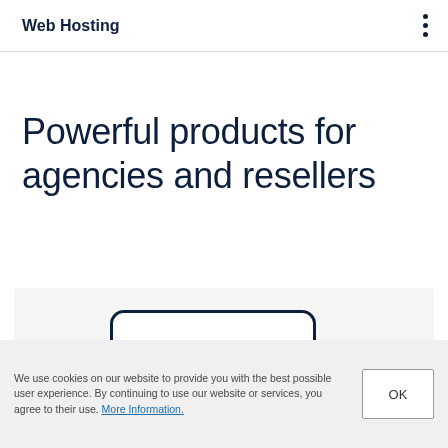Web Hosting
Powerful products for agencies and resellers
[Figure (illustration): Rounded rectangle card outline on a light grey background, partially visible, suggesting a product card UI element]
We use cookies on our website to provide you with the best possible user experience. By continuing to use our website or services, you agree to their use. More Information.